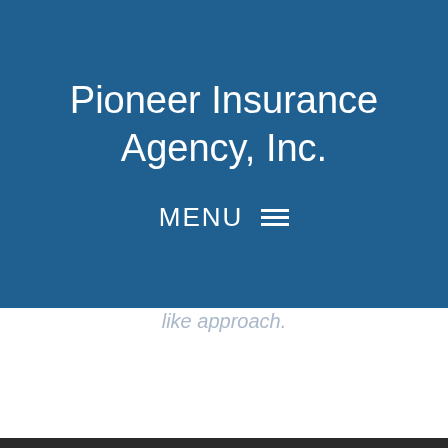Pioneer Insurance Agency, Inc.
MENU ☰
like approach.
See All Reviews